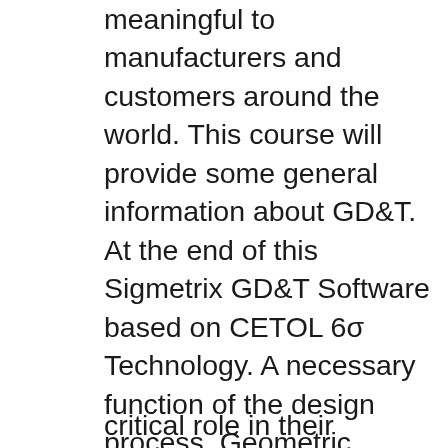meaningful to manufacturers and customers around the world. This course will provide some general information about GD&T. At the end of this Sigmetrix GD&T Software based on CETOL 6σ Technology. A necessary function of the design process, Geometric Dimensioning and Tolerancing is often perceived as a tedious, manual exercise where specifications are drawn by hand and applied to CAD drawings as a separate step.. Enter GD&T Advisor – the preferred GD&T software solution that empowers designers to communicate permissible levels of
critical role in their success. Geometric